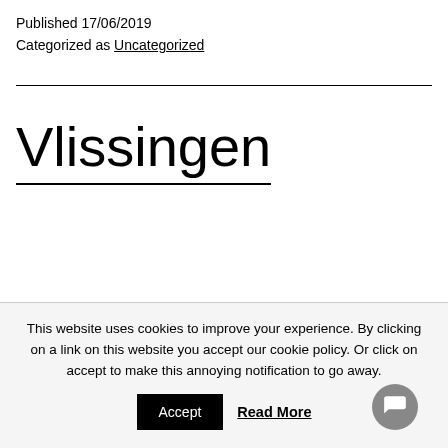Published 17/06/2019
Categorized as Uncategorized
Vlissingen
This website uses cookies to improve your experience. By clicking on a link on this website you accept our cookie policy. Or click on accept to make this annoying notification to go away.
Accept  Read More